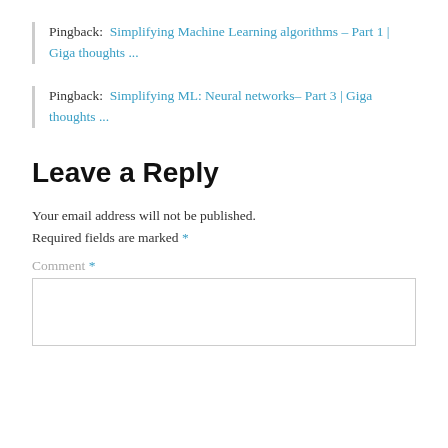Pingback:  Simplifying Machine Learning algorithms – Part 1 | Giga thoughts ...
Pingback:  Simplifying ML: Neural networks– Part 3 | Giga thoughts ...
Leave a Reply
Your email address will not be published. Required fields are marked *
Comment *